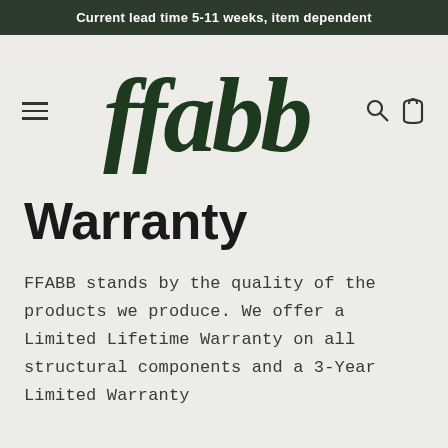Current lead time 5-11 weeks, item dependent
[Figure (logo): ffabb brand logo in dark green serif italic font, with hamburger menu icon on left and search/bag icons on right]
Warranty
FFABB stands by the quality of the products we produce. We offer a Limited Lifetime Warranty on all structural components and a 3-Year Limited Warranty